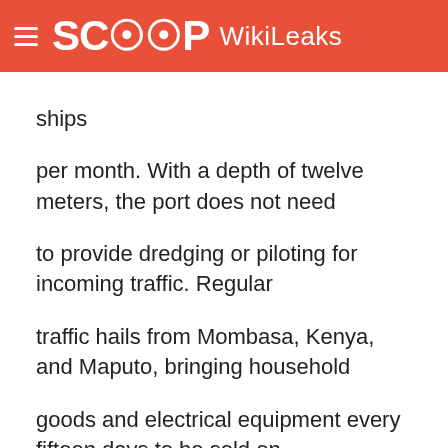SCOOP WikiLeaks
ships per month. With a depth of twelve meters, the port does not need to provide dredging or piloting for incoming traffic. Regular traffic hails from Mombasa, Kenya, and Maputo, bringing household goods and electrical equipment every fifteen days to be sold on the local market. Cotton and timber are the province's primary exports, with most goods being shipped to Asia (predominately China). Timberworld and Southgate, two UK-based